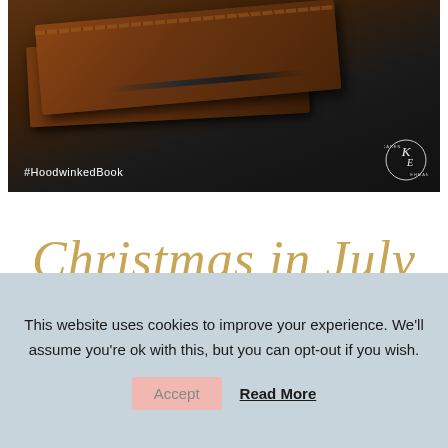[Figure (photo): Dark background photo of leather-bound books/journals stacked on a dark surface, with a pen visible. Has '#HoodwinkedBook' text overlay in bottom left and a circular 'KE Karen Ehman' logo in bottom right.]
Christmas in July
[Figure (photo): Promotional image section showing a pine branch/tree sprig on a light background on the left, and '50% Off ALL' text in spaced monospace font on the right.]
This website uses cookies to improve your experience. We'll assume you're ok with this, but you can opt-out if you wish.
Accept   Read More